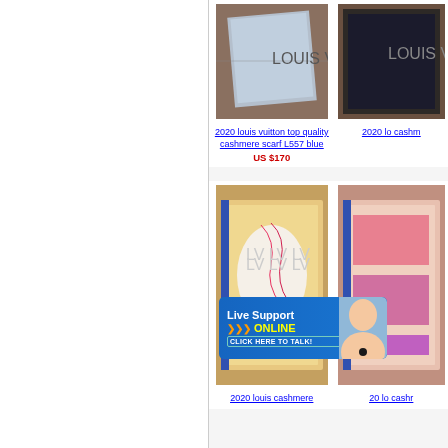[Figure (photo): Product listing page showing Louis Vuitton cashmere scarves for sale, with two rows of product images and titles]
2020 louis vuitton top quality cashmere scarf L557 blue
US $170
2020 louis cashmere scarf (partial, cut off)
2020 louis cashmere (partial, cut off)
[Figure (screenshot): Live Support online chat banner with orange arrows and ONLINE text and CLICK HERE TO TALK button]